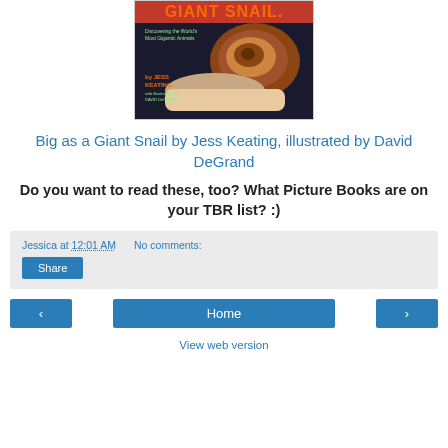[Figure (illustration): Book cover of 'Big as a Giant Snail' by Jess Keating, illustrated by David DeGrand. Shows a large snail resting on a human hand against a dark background. Text on cover reads: 'GIANT SNAIL. Discovering the World's Most Gigantic Animals by JESS KEATING with illustrations by DAVID DeGRAND']
Big as a Giant Snail by Jess Keating, illustrated by David DeGrand
Do you want to read these, too? What Picture Books are on your TBR list? :)
Jessica at 12:01 AM   No comments:
Share
‹   Home   ›   View web version